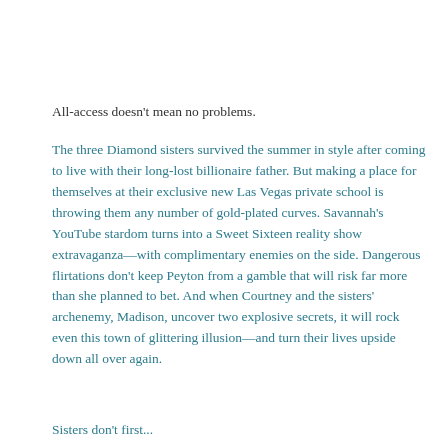All-access doesn't mean no problems.
The three Diamond sisters survived the summer in style after coming to live with their long-lost billionaire father. But making a place for themselves at their exclusive new Las Vegas private school is throwing them any number of gold-plated curves. Savannah's YouTube stardom turns into a Sweet Sixteen reality show extravaganza—with complimentary enemies on the side. Dangerous flirtations don't keep Peyton from a gamble that will risk far more than she planned to bet. And when Courtney and the sisters' archenemy, Madison, uncover two explosive secrets, it will rock even this town of glittering illusion—and turn their lives upside down all over again.
Sisters don't first...